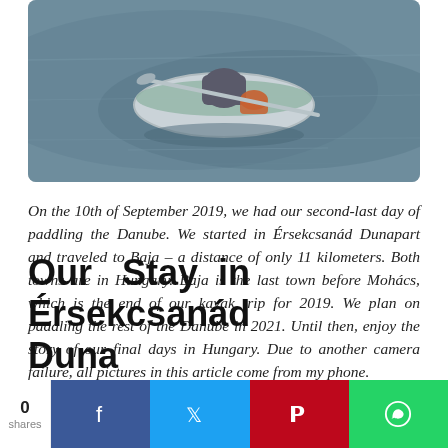[Figure (photo): A person paddling a kayak on the Danube river, viewed from above, with grey water surrounding the kayak.]
On the 10th of September 2019, we had our second-last day of paddling the Danube. We started in Érsekcsanád Dunapart and traveled to Baja – a distance of only 11 kilometers. Both towns are in Hungary. Baja is the last town before Mohács, which is the end of our kayak trip for 2019. We plan on paddling the rest of the Danube in 2021. Until then, enjoy the story of our final days in Hungary. Due to another camera failure, all pictures in this article come from my phone.
Our Stay in Érsekcsanád Duna...